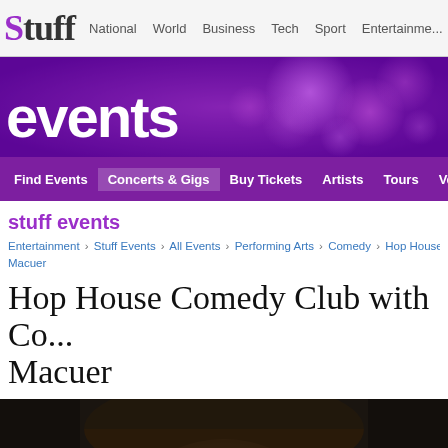Stuff | National | World | Business | Tech | Sport | Entertainment
[Figure (illustration): Events banner with purple bokeh background and 'events' text in white]
Find Events | Concerts & Gigs | Buy Tickets | Artists | Tours | Venue
stuff events
Entertainment › Stuff Events › All Events › Performing Arts › Comedy › Hop House Co... Macuer
Hop House Comedy Club with Co... Macuer
[Figure (photo): Close-up photo of a man's face wearing dark-framed glasses, showing eyes and upper face in dark moody lighting]